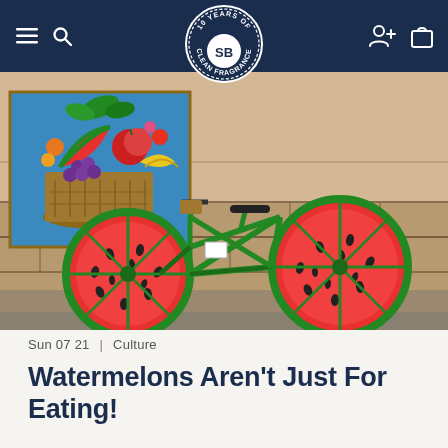SB — 10 Years of Clean Fragrance
[Figure (photo): A green bicycle parked against a stone wall, with watermelon slices as wheels. Behind it, a colorful fruit basket painting is mounted on the wall.]
Sun 07 21 | Culture
Watermelons Aren't Just For Eating!